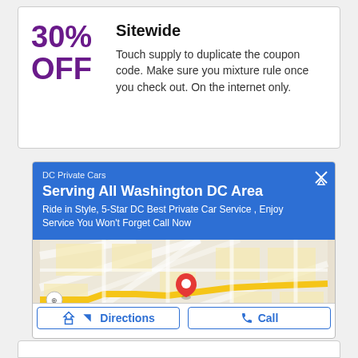30% OFF
Sitewide
Touch supply to duplicate the coupon code. Make sure you mixture rule once you check out. On the internet only.
[Figure (infographic): Advertisement for DC Private Cars showing a Google Maps-style ad card with blue header, map with red pin, Directions and Call buttons. Header text: 'DC Private Cars', 'Serving All Washington DC Area', 'Ride in Style, 5-Star DC Best Private Car Service , Enjoy Service You Won't Forget Call Now']